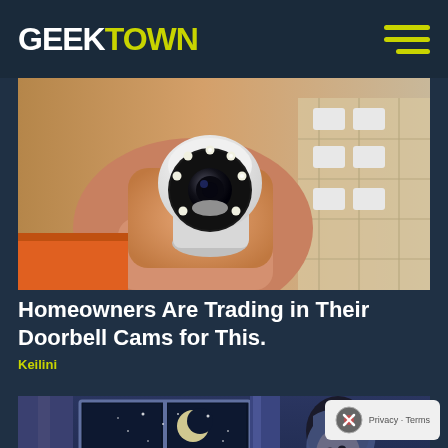GEEKTOWN
[Figure (photo): A hand holding a small white PTZ security camera with LED ring, with cardboard packaging visible in background]
Homeowners Are Trading in Their Doorbell Cams for This.
Keilini
[Figure (illustration): Animation-style illustration of a person waking up startled in bed at night, with a crescent moon visible through the window]